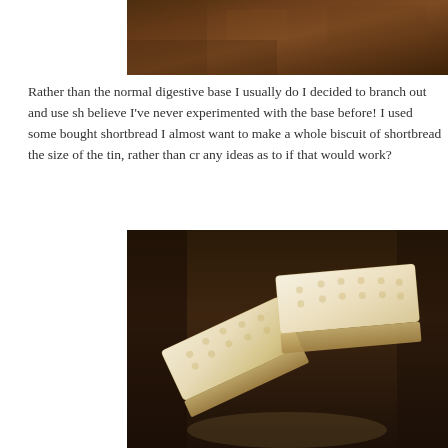[Figure (photo): Top portion of a food photo, showing a dark brown textured background, partially cropped at the top of the page.]
Rather than the normal digestive base I usually do I decided to branch out and use sh believe I've never experimented with the base before! I used some bought shortbread I almost want to make a whole biscuit of shortbread the size of the tin, rather than cr any ideas as to if that would work?
[Figure (photo): Close-up photo of shortbread biscuit fingers stacked together, showing their pale golden color, sugary texture, and characteristic docking holes on top. Set against a dark blurred background.]